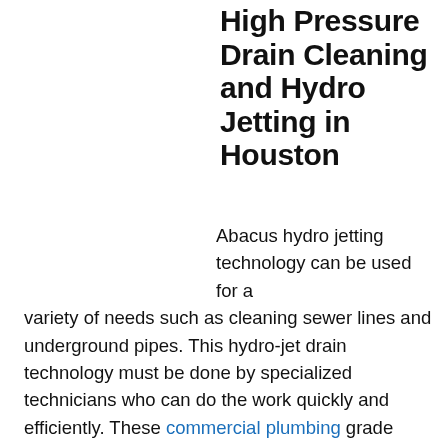High Pressure Drain Cleaning and Hydro Jetting in Houston
Abacus hydro jetting technology can be used for a variety of needs such as cleaning sewer lines and underground pipes. This hydro-jet drain technology must be done by specialized technicians who can do the work quickly and efficiently. These commercial plumbing grade hydro-jet drain and sewer machines are very expensive and complex and have a lot of power to remove and clear heavy grease and roots that most commonly are the reason for clogged, stopped up and backed up drains and sewers. Better technology can do a lot for the...